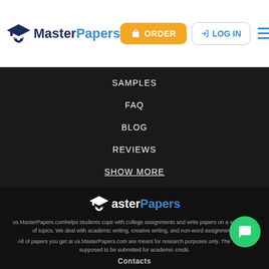[Figure (logo): MasterPapers logo with graduation cap icon, 'Master' in dark blue bold and 'Papers' in blue bold]
ORDER
LOG IN
SAMPLES
FAQ
BLOG
REVIEWS
SHOW MORE
[Figure (logo): MasterPapers footer logo with white graduation cap icon, 'Master' in white and 'Papers' in blue]
us.MasterPapers.comhelps students cope with college assignments and write papers on a wide range of topics. We deal with academic writing, creative writing, and non-word assignments.
All of papers you get at us.MasterPapers.com are meant for research purposes only. They are not supposed to be submitted for academic credit.
Contacts